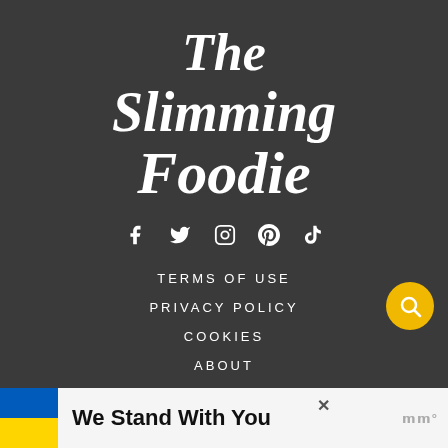[Figure (logo): The Slimming Foodie script logo in white on dark background]
[Figure (other): Social media icons: Facebook, Twitter, Instagram, Pinterest, TikTok]
TERMS OF USE
PRIVACY POLICY
COOKIES
ABOUT
[Figure (other): Yellow circular search button with magnifying glass icon]
[Figure (other): Advertisement banner: Ukrainian flag, 'We Stand With You' text, close button and brand logo]